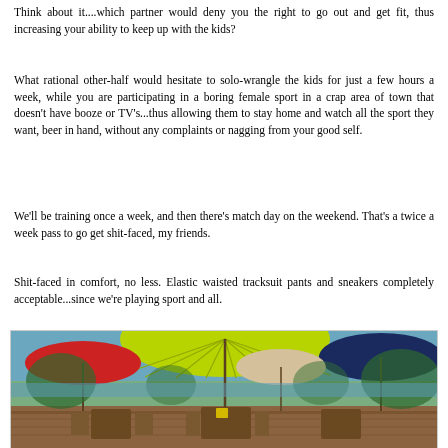Think about it....which partner would deny you the right to go out and get fit, thus increasing your ability to keep up with the kids?
What rational other-half would hesitate to solo-wrangle the kids for just a few hours a week, while you are participating in a boring female sport in a crap area of town that doesn't have booze or TV's...thus allowing them to stay home and watch all the sport they want, beer in hand, without any complaints or nagging from your good self.
We'll be training once a week, and then there's match day on the weekend.  That's a twice a week pass to go get shit-faced, my friends.
Shit-faced in comfort, no less.  Elastic waisted tracksuit pants and sneakers completely acceptable...since we're playing sport and all.
[Figure (photo): Outdoor deck/patio area with colorful patio umbrellas (lime green, red, navy, beige) over wooden furniture, with trees and water visible in the background.]